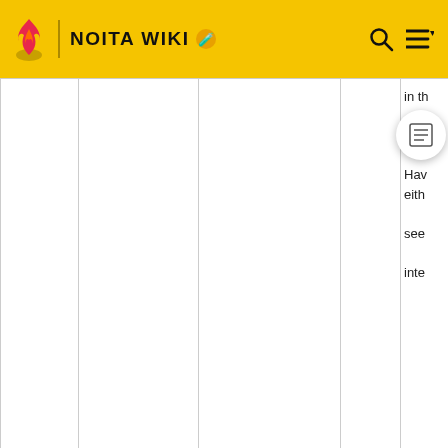NOITA WIKI
| Icon | Name | Description | Yes/No | Notes |
| --- | --- | --- | --- | --- |
|  |  |  |  | in th
it.
Hav
eith
see
inte |
| [wand experimenter icon] | Wand Experimenter | Firing newly found and unmodified wands heals you. | Yes | This
amo
shu
of 7
halv
Shu
+10
per
+48 |